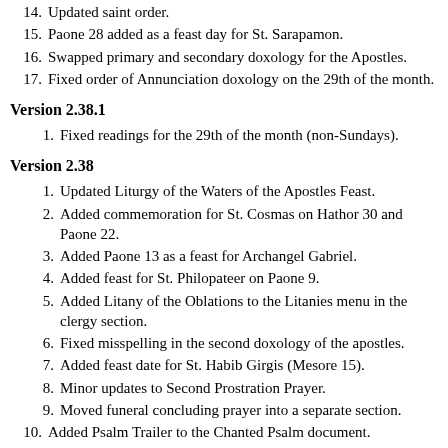14. Updated saint order.
15. Paone 28 added as a feast day for St. Sarapamon.
16. Swapped primary and secondary doxology for the Apostles.
17. Fixed order of Annunciation doxology on the 29th of the month.
Version 2.38.1
1. Fixed readings for the 29th of the month (non-Sundays).
Version 2.38
1. Updated Liturgy of the Waters of the Apostles Feast.
2. Added commemoration for St. Cosmas on Hathor 30 and Paone 22.
3. Added Paone 13 as a feast for Archangel Gabriel.
4. Added feast for St. Philopateer on Paone 9.
5. Added Litany of the Oblations to the Litanies menu in the clergy section.
6. Fixed misspelling in the second doxology of the apostles.
7. Added feast date for St. Habib Girgis (Mesore 15).
8. Minor updates to Second Prostration Prayer.
9. Moved funeral concluding prayer into a separate section.
10. Added Psalm Trailer to the Chanted Psalm document.
11. Added expositions for the 21st and the 29th of the month to Vesper Praises.